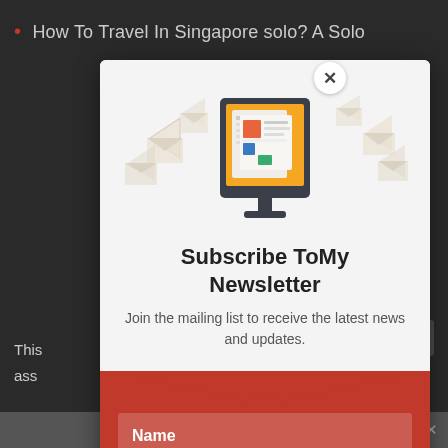How To Travel In Singapore solo? A Solo
[Figure (screenshot): Newsletter subscription popup modal with a computer monitor icon showing newspaper/articles, set against a light gray background with decorative envelope/paper shapes. The lower section is red with a wave divider and a Name input field.]
Subscribe ToMy Newsletter
Join the mailing list to receive the latest news and updates.
Name
This ... We'll ass... ish.
Share This